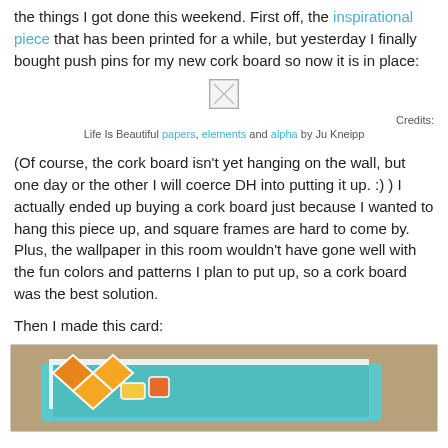the things I got done this weekend. First off, the inspirational piece that has been printed for a while, but yesterday I finally bought push pins for my new cork board so now it is in place:
[Figure (photo): Small placeholder image icon (broken/loading image) centered on the page]
Credits:
Life Is Beautiful papers, elements and alpha by Ju Kneipp
(Of course, the cork board isn't yet hanging on the wall, but one day or the other I will coerce DH into putting it up. :) ) I actually ended up buying a cork board just because I wanted to hang this piece up, and square frames are hard to come by. Plus, the wallpaper in this room wouldn't have gone well with the fun colors and patterns I plan to put up, so a cork board was the best solution.
Then I made this card:
[Figure (photo): Photo of a handmade card with colorful craft elements on a teal background, placed on a tan/kraft paper surface]